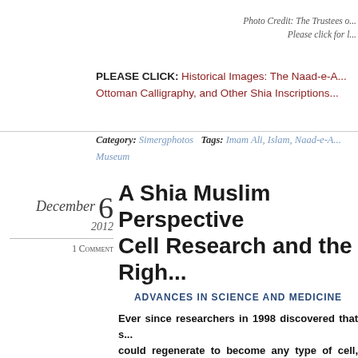Photo Credit: The Trustees o...
Please click for l...
PLEASE CLICK: Historical Images: The Naad-e-A... Ottoman Calligraphy, and Other Shia Inscriptions...
Category: Simergphotos   Tags: Imam Ali, Islam, Naad-e-A... Museum
December 2012  6
1 Comment
A Shia Muslim Perspective... Cell Research and the Righ...
ADVANCES IN SCIENCE AND MEDICINE
Ever since researchers in 1998 discovered that s... could regenerate to become any type of cell, ther... such research. When stem cells are taken from a... cannot become implanted into a womb or devel...